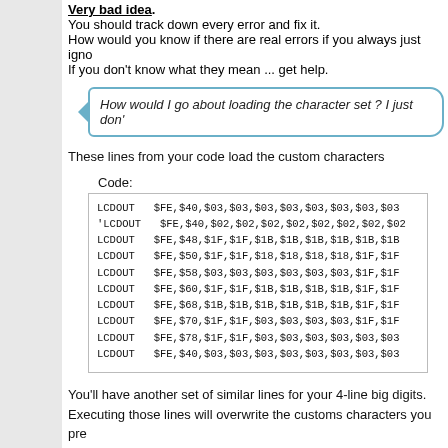Very bad idea. You should track down every error and fix it. How would you know if there are real errors if you always just ignore them? If you don't know what they mean ... get help.
How would I go about loading the character set ? I just don't...
These lines from your code load the custom characters
Code:
LCDOUT   $FE,$40,$03,$03,$03,$03,$03,$03,$03,$03
'LCDOUT   $FE,$40,$02,$02,$02,$02,$02,$02,$02,$02
LCDOUT   $FE,$48,$1F,$1F,$1B,$1B,$1B,$1B,$1B,$1B
LCDOUT   $FE,$50,$1F,$1F,$18,$18,$18,$18,$1F,$1F
LCDOUT   $FE,$58,$03,$03,$03,$03,$03,$03,$1F,$1F
LCDOUT   $FE,$60,$1F,$1F,$1B,$1B,$1B,$1B,$1F,$1F
LCDOUT   $FE,$68,$1B,$1B,$1B,$1B,$1B,$1B,$1F,$1F
LCDOUT   $FE,$70,$1F,$1F,$03,$03,$03,$03,$1F,$1F
LCDOUT   $FE,$78,$1F,$1F,$03,$03,$03,$03,$03,$03
LCDOUT   $FE,$40,$03,$03,$03,$03,$03,$03,$03,$03
You'll have another set of similar lines for your 4-line big digits. Executing those lines will overwrite the customs characters you pre...
However, you can only have 8 custom characters at a time, and you... The one commented as Cust Char #8, is actually Cust Char #0 and... #0. Good thing they're the same.